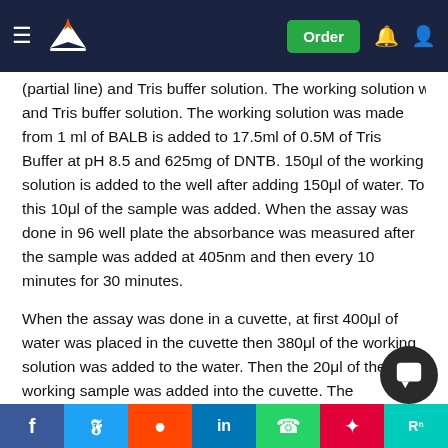Navigation bar with logo, Order button, notification and account icons
(partial/cut-off line) and Tris buffer solution. The working solution was made from 1 ml of BALB is added to 17.5ml of 0.5M of Tris Buffer at pH 8.5 and 625mg of DNTB. 150μl of the working solution is added to the well after adding 150μl of water. To this 10μl of the sample was added. When the assay was done in 96 well plate the absorbance was measured after the sample was added at 405nm and then every 10 minutes for 30 minutes.
When the assay was done in a cuvette, at first 400μl of water was placed in the cuvette then 380μl of the working solution was added to the water. Then the 20μl of the working sample was added into the cuvette. The absorbance was the measured at 412 nm for the 20 minutes. The reason why there is a difference in the wavelength w... a... d is due to the plate reader not being able to read the absorbance at
Social share bar: Facebook, Twitter, Reddit, LinkedIn, WhatsApp, Mendeley, ResearchGate